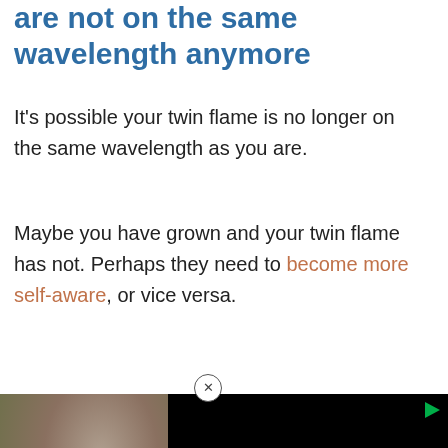are not on the same wavelength anymore
It's possible your twin flame is no longer on the same wavelength as you are.
Maybe you have grown and your twin flame has not. Perhaps they need to become more self-aware, or vice versa.
[Figure (photo): A split view: left side shows a person with dark hair and raised hand in a blurred outdoor setting, right side is a black video player area with a play button icon in the top right corner.]